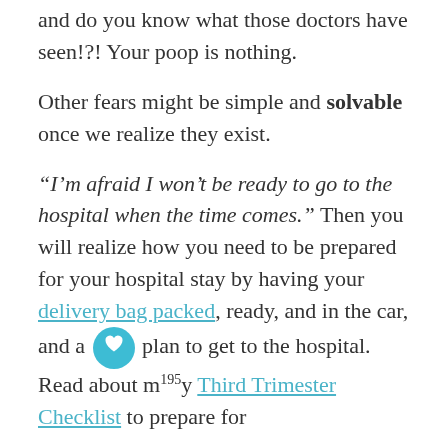and do you know what those doctors have seen!?! Your poop is nothing.
Other fears might be simple and solvable once we realize they exist.
“I’m afraid I won’t be ready to go to the hospital when the time comes.” Then you will realize how you need to be prepared for your hospital stay by having your delivery bag packed, ready, and in the car, and a plan to get to the hospital. Read about my Third Trimester Checklist to prepare for